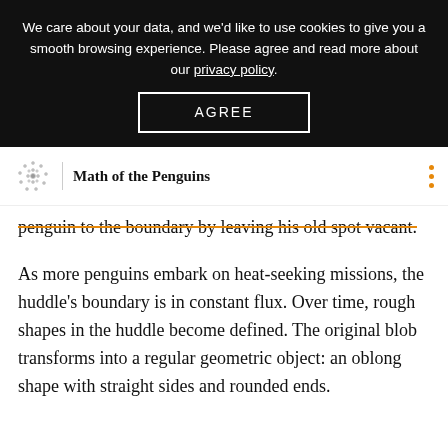We care about your data, and we'd like to use cookies to give you a smooth browsing experience. Please agree and read more about our privacy policy.
AGREE
Math of the Penguins
penguin to the boundary by leaving his old spot vacant.
As more penguins embark on heat-seeking missions, the huddle's boundary is in constant flux. Over time, rough shapes in the huddle become defined. The original blob transforms into a regular geometric object: an oblong shape with straight sides and rounded ends.